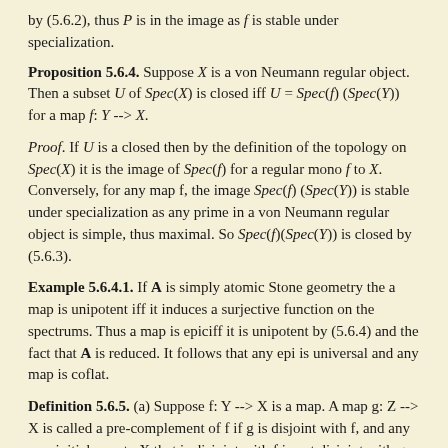by (5.6.2), thus P is in the image as f is stable under specialization.
Proposition 5.6.4. Suppose X is a von Neumann regular object. Then a subset U of Spec(X) is closed iff U = Spec(f)(Spec(Y)) for a map f: Y --> X.
Proof. If U is a closed then by the definition of the topology on Spec(X) it is the image of Spec(f) for a regular mono f to X. Conversely, for any map f, the image Spec(f)(Spec(Y)) is stable under specialization as any prime in a von Neumann regular object is simple, thus maximal. So Spec(f)(Spec(Y)) is closed by (5.6.3).
Example 5.6.4.1. If A is simply atomic Stone geometry the a map is unipotent iff it induces a surjective function on the spectrums. Thus a map is epiciff it is unipotent by (5.6.4) and the fact that A is reduced. It follows that any epi is universal and any map is coflat.
Definition 5.6.5. (a) Suppose f: Y --> X is a map. A map g: Z --> X is called a pre-complement of f if g is disjoint with f, and any non-initial map to X that is disjoint with f is not disjoint with g.
(b) A map f: Y --> X is called pre-complementary if it has a pre-complement.